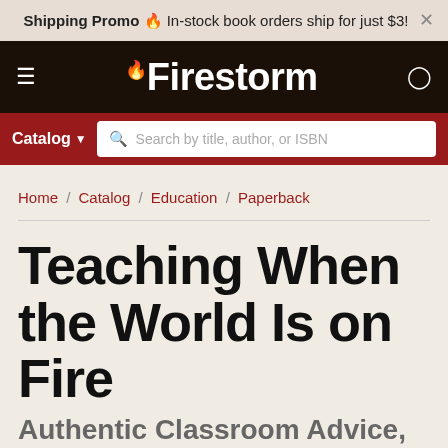Shipping Promo 🔥 In-stock book orders ship for just $3!
[Figure (screenshot): Firestorm bookstore website navigation bar with dark background, hamburger menu, Firestorm logo with flame, and user icon]
Catalog  Search by title, author, or ISBN
Home / Catalog / Education / Paperback
Teaching When the World Is on Fire
Authentic Classroom Advice,